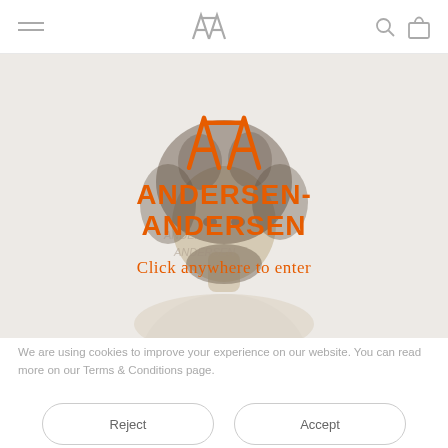Navigation bar with hamburger menu, AA logo, search and cart icons
[Figure (screenshot): Hero image of a man with natural afro hair on a light beige background, with Andersen-Andersen brand logo and 'Click anywhere to enter' overlay]
We are using cookies to improve your experience on our website. You can read more on our Terms & Conditions page.
Reject
Accept